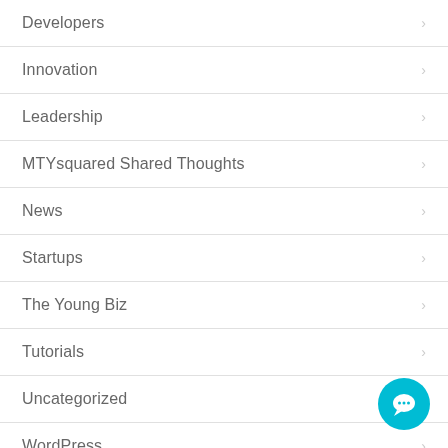Developers
Innovation
Leadership
MTYsquared Shared Thoughts
News
Startups
The Young Biz
Tutorials
Uncategorized
WordPress